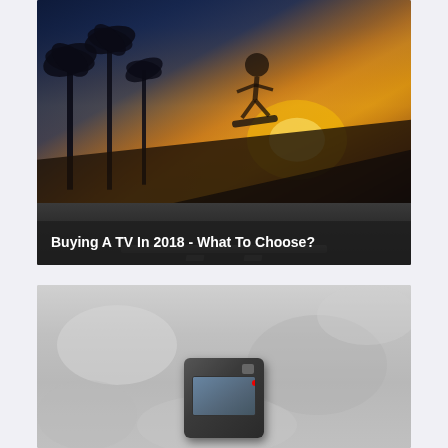[Figure (photo): A flatscreen TV displaying a skateboarder doing a trick against a sunset sky with palm trees. White bold text overlay at the bottom reads 'Buying A TV In 2018 - What To Choose?']
[Figure (photo): An action camera (small black rugged camera with red record indicator on screen) photographed against a blurred grey background]